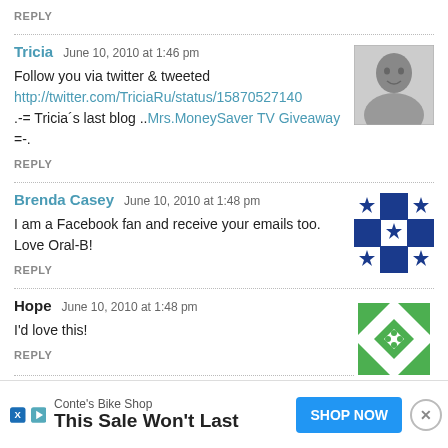REPLY
Tricia   June 10, 2010 at 1:46 pm
Follow you via twitter & tweeted
http://twitter.com/TriciaRu/status/15870527140
.-= Tricia´s last blog ..Mrs.MoneySaver TV Giveaway =-.
REPLY
Brenda Casey   June 10, 2010 at 1:48 pm
I am a Facebook fan and receive your emails too. Love Oral-B!
REPLY
Hope   June 10, 2010 at 1:48 pm
I'd love this!
REPLY
Stephan...